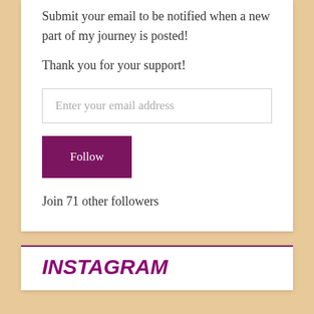Submit your email to be notified when a new part of my journey is posted!
Thank you for your support!
Enter your email address
Follow
Join 71 other followers
INSTAGRAM